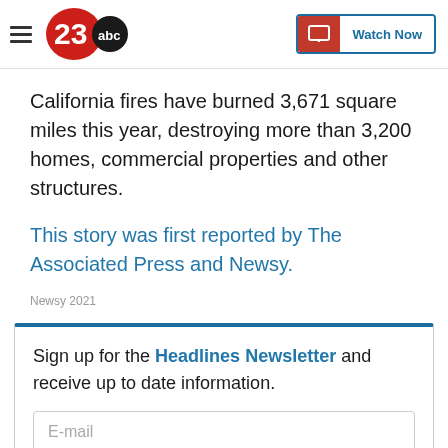23ABC — Watch Now
California fires have burned 3,671 square miles this year, destroying more than 3,200 homes, commercial properties and other structures.
This story was first reported by The Associated Press and Newsy.
Newsy 2021
Sign up for the Headlines Newsletter and receive up to date information.